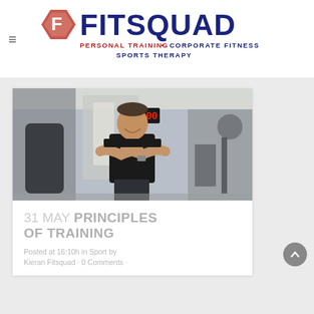[Figure (logo): FitSquad logo with hexagon icon and text: FITSQUAD PERSONAL TRAINING • CORPORATE FITNESS SPORTS THERAPY]
[Figure (photo): A fit man with arms crossed standing in a gym. A digital timer displaying 15:00 is visible in the background.]
31 MAY PRINCIPLES OF TRAINING
Posted at 16:10h in Sport by Kieran Fitsquad · 0 Comments ·